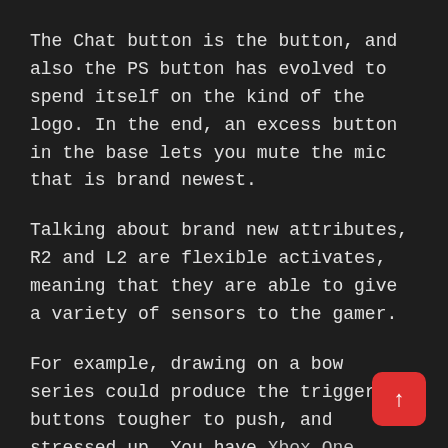The Chat button is the button, and also the PS button has evolved to spend itself on the kind of the logo. In the end, an excess button in the base lets you mute the mic that is brand newest.
Talking about brand new attributes, R2 and L2 are flexible activates, meaning that they are able to give a variety of sensors to the gamer.
For example, drawing on a bow series could produce the trigger buttons tougher to push, and stressed up. You have Xbox One accessories.
This will provide sensations, letting you feel that the gap between 2 surfaces to players.